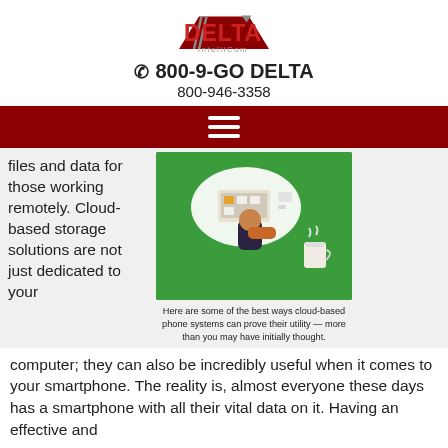[Figure (logo): Delta IntelliCom logo with red text and triangle graphic]
☎ 800-9-GO DELTA
800-946-3358
[Figure (other): Navigation bar with hamburger menu icon on dark red background]
files and data for those working remotely. Cloud-based storage solutions are not just dedicated to your
[Figure (illustration): Illustration of person working remotely on a laptop with cloud icons on green background]
Here are some of the best ways cloud-based phone systems can prove their utility — more than you may have initially thought.
computer; they can also be incredibly useful when it comes to your smartphone. The reality is, almost everyone these days has a smartphone with all their vital data on it. Having an effective and